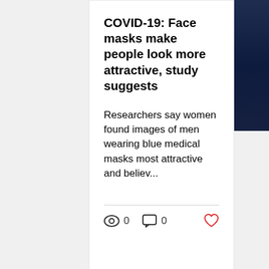COVID-19: Face masks make people look more attractive, study suggests
Researchers say women found images of men wearing blue medical masks most attractive and believ...
[Figure (screenshot): Social media article card with view count 0, comment count 0, and heart/like icon. Below the card are pagination dots (filled blue, grey, grey) and two circular buttons: an up-arrow button and a blue three-dots menu button.]